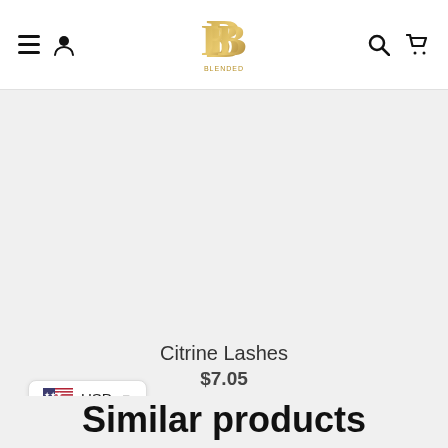Navigation header with hamburger menu, user icon, BB logo, search icon, and cart icon
[Figure (screenshot): Product image area (empty/light gray background) for Citrine Lashes product]
Citrine Lashes
$7.05
[Figure (infographic): Carousel navigation with left arrow, 12 dots (first dot filled/active in red, rest outlined), and right arrow]
USD
Similar products